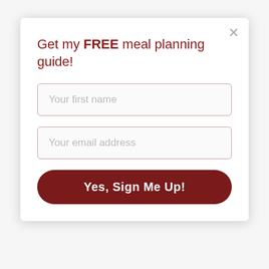Get my FREE meal planning guide!
Your first name
Your email address
Yes, Sign Me Up!
soda and vinegar for cleaning all the time. They have a great Green Goods section that has two books that caught my eye. They are 400 uses for vinegar book and 500 uses for baking soda book. I really like this site. Thanks for sharing.
Reply
Nicole Carter Weasley April 17, 2014 at 9:58 AM
I'm not sure what all I would get but definitely get the